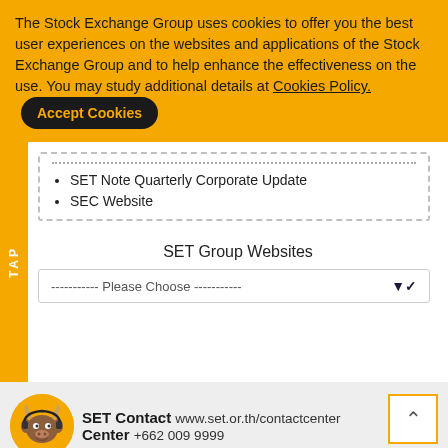The Stock Exchange Group uses cookies to offer you the best user experiences on the websites and applications of the Stock Exchange Group and to help enhance the effectiveness on the use. You may study additional details at Cookies Policy. [Accept Cookies button]
SET Note Quarterly Corporate Update
SEC Website
SET Group Websites
----------- Please Choose -----------
SET Contact Center   www.set.or.th/contactcenter   +662 009 9999
Rules/Regulations